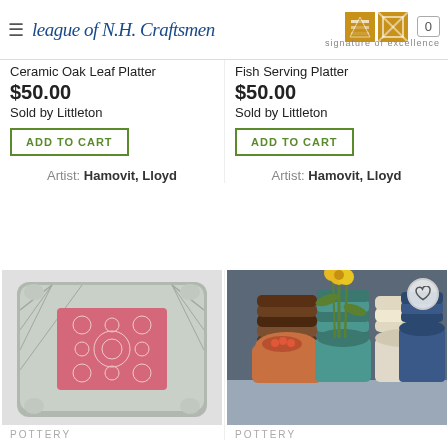League of N.H. Craftsmen – signature of excellence
Ceramic Oak Leaf Platter
$50.00
Sold by Littleton
Fish Serving Platter
$50.00
Sold by Littleton
ADD TO CART
ADD TO CART
Artist: Hamovit, Lloyd
Artist: Hamovit, Lloyd
[Figure (photo): Square ceramic dish with textured grey border and pink floral pattern center]
[Figure (photo): Three stacked pottery spools/vases in teal, cream and blue colors, with yellow sunflowers in the tallest one]
POTTERY
POTTERY